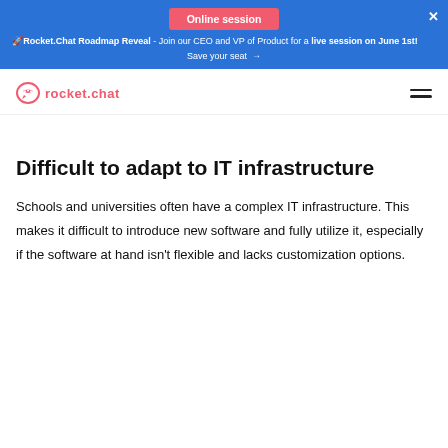Online session
🚀Rocket.Chat Roadmap Reveal - Join our CEO and VP of Product for a live session on June 1st! Save your seat →
[Figure (logo): Rocket.Chat logo with rocket icon and text 'rocket.chat' in red/coral color]
Difficult to adapt to IT infrastructure
Schools and universities often have a complex IT infrastructure. This makes it difficult to introduce new software and fully utilize it, especially if the software at hand isn't flexible and lacks customization options.